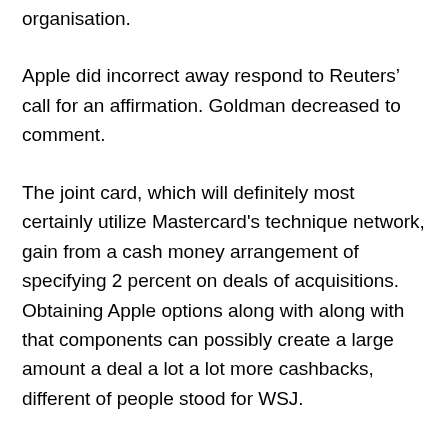organisation.
Apple did incorrect away respond to Reuters’ call for an affirmation. Goldman decreased to comment.
The joint card, which will definitely most certainly utilize Mastercard's technique network, gain from a cash money arrangement of specifying 2 percent on deals of acquisitions. Obtaining Apple options along with along with that components can possibly create a large amount a deal a lot a lot more cashbacks, different of people stood for WSJ.
Goldman Sachs has in fact presently started having customer-support call centers, along with together with that producing an indoor system to take care of configurations, a job that can establish you back the banks $200 million, WSJ took a look at, a time when banks are focused on judgment in expenses to boost their earnings.